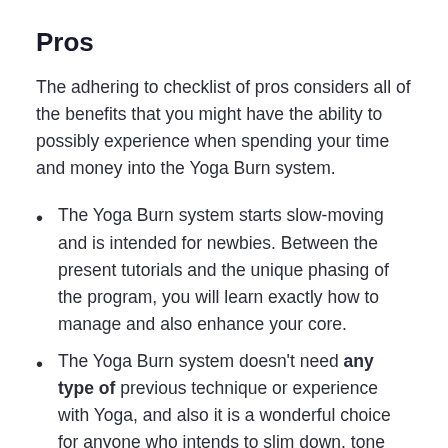Pros
The adhering to checklist of pros considers all of the benefits that you might have the ability to possibly experience when spending your time and money into the Yoga Burn system.
The Yoga Burn system starts slow-moving and is intended for newbies. Between the present tutorials and the unique phasing of the program, you will learn exactly how to manage and also enhance your core.
The Yoga Burn system doesn’t need any type of previous technique or experience with Yoga, and also it is a wonderful choice for anyone who intends to slim down, tone muscles, and boost versatility.